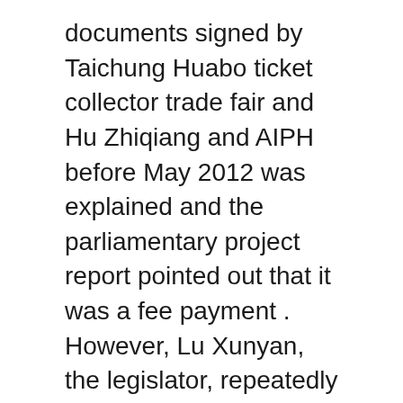documents signed by Taichung Huabo ticket collector trade fair and Hu Zhiqiang and AIPH before May 2012 was explained and the parliamentary project report pointed out that it was a fee payment . However, Lu Xunyan, the legislator, repeatedly claimed that Taichung Citizens released the park, which shows that he did not speak to AIPH and did not ask for it, and the city government was free to win the Huabo card, which after the consultation is not opposed by AIPH. And the prize after a second does not hurt the spirit of the charge.
[ad_2]
Source link